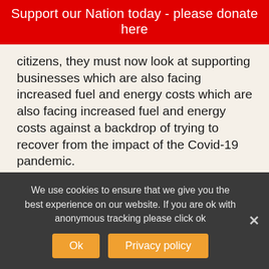Support our Nation today - please donate here
citizens, they must now look at supporting businesses which are also facing increased fuel and energy costs which are also facing increased fuel and energy costs against a backdrop of trying to recover from the impact of the Covid-19 pandemic.
“Along with the Welsh and Scottish finance ministers, I impressed upon the Chief Secretary to the Treasury the need for further measures to be taken. I once again called on Treasury to reduce VAT on energy bills.”
We use cookies to ensure that we give you the best experience on our website. If you are ok with anonymous tracking please click ok
Ok
Privacy policy